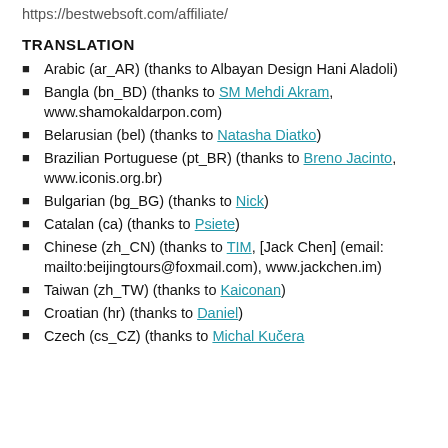https://bestwebsoft.com/affiliate/
TRANSLATION
Arabic (ar_AR) (thanks to Albayan Design Hani Aladoli)
Bangla (bn_BD) (thanks to SM Mehdi Akram, www.shamokaldarpon.com)
Belarusian (bel) (thanks to Natasha Diatko)
Brazilian Portuguese (pt_BR) (thanks to Breno Jacinto, www.iconis.org.br)
Bulgarian (bg_BG) (thanks to Nick)
Catalan (ca) (thanks to Psiete)
Chinese (zh_CN) (thanks to TIM, [Jack Chen] (email: mailto:beijingtours@foxmail.com), www.jackchen.im)
Taiwan (zh_TW) (thanks to Kaiconan)
Croatian (hr) (thanks to Daniel)
Czech (cs_CZ) (thanks to Michal Kučera